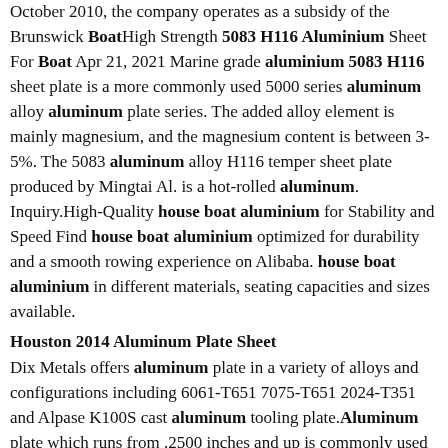October 2010, the company operates as a subsidy of the Brunswick BoatHigh Strength 5083 H116 Aluminium Sheet For Boat Apr 21, 2021 Marine grade aluminium 5083 H116 sheet plate is a more commonly used 5000 series aluminum alloy aluminum plate series. The added alloy element is mainly magnesium, and the magnesium content is between 3-5%. The 5083 aluminum alloy H116 temper sheet plate produced by Mingtai Al. is a hot-rolled aluminum. Inquiry.High-Quality house boat aluminium for Stability and Speed Find house boat aluminium optimized for durability and a smooth rowing experience on Alibaba. house boat aluminium in different materials, seating capacities and sizes available.
Houston 2014 Aluminum Plate Sheet
Dix Metals offers aluminum plate in a variety of alloys and configurations including 6061-T651 7075-T651 2024-T351 and Alpase K100S cast aluminum tooling plate.Aluminum plate which runs from .2500 inches and up is commonly used in aerospace semiconductor Factory Direct Sales Aluminum Coil 5xxx Series